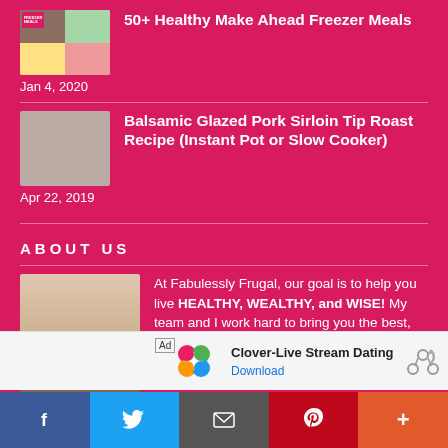[Figure (photo): Thumbnail collage showing multiple freezer meal dishes in a grid layout]
50+ Healthy Make Ahead Freezer Meals
Jan 4, 2020
[Figure (photo): Photo of Balsamic Glazed Pork Sirloin Tip Roast]
Balsamic Glazed Pork Sirloin Tip Roast Recipe (Instant Pot or Slow Cooker)
Apr 22, 2019
ABOUT US
[Figure (photo): Photo of a woman with long brown hair smiling, wearing a patterned top]
At Fabulessly Frugal, our goal is to help you live HEALTHY, WEALTHY, and WISE! My team and I work hard to bring you the best, online deals, clean eating, DIY's, freezer meal recipes, and
[Figure (screenshot): Advertisement banner for Clover-Live Stream Dating app with Download button]
[Figure (infographic): Social media share bar with Facebook, Twitter, Email, Pinterest, and More buttons]